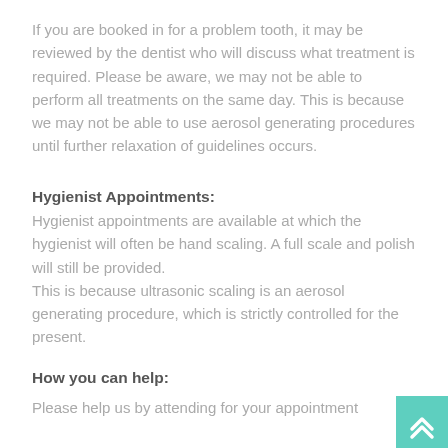If you are booked in for a problem tooth, it may be reviewed by the dentist who will discuss what treatment is required. Please be aware, we may not be able to perform all treatments on the same day. This is because we may not be able to use aerosol generating procedures until further relaxation of guidelines occurs.
Hygienist Appointments:
Hygienist appointments are available at which the hygienist will often be hand scaling. A full scale and polish will still be provided.
This is because ultrasonic scaling is an aerosol generating procedure, which is strictly controlled for the present.
How you can help:
Please help us by attending for your appointment